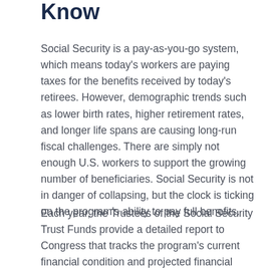Know
Social Security is a pay-as-you-go system, which means today's workers are paying taxes for the benefits received by today's retirees. However, demographic trends such as lower birth rates, higher retirement rates, and longer life spans are causing long-run fiscal challenges. There are simply not enough U.S. workers to support the growing number of beneficiaries. Social Security is not in danger of collapsing, but the clock is ticking on the program's ability to pay full benefits.
Each year, the Trustees of the Social Security Trust Funds provide a detailed report to Congress that tracks the program's current financial condition and projected financial outlook. In the latest report, released in August 2021, the Trustees estimate that